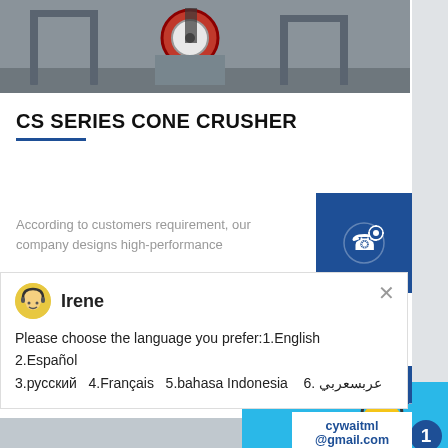[Figure (photo): Industrial cone crusher machinery in a warehouse/factory setting, gray steel frame with red circular component]
CS SERIES CONE CRUSHER
According to customers requirement, our company designs high-performance
[Figure (screenshot): Live chat popup with avatar of agent named Irene showing language selection options]
Please choose the language you prefer:1.English  2.Español 3.русский  4.Français  5.bahasa Indonesia   6. عربسعربي
[Figure (photo): Large industrial impact crusher machine in white/red, shown from front angle]
[Figure (screenshot): Live chat widget with smiley face emoji, badge showing 1 notification, and Click me to chat button]
Enquiry
cywaitml
@gmail.com